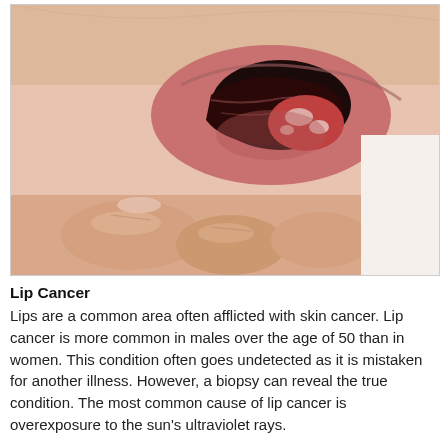[Figure (photo): Close-up medical photograph showing lip cancer: a person's lower lip being pulled down to reveal a reddish lesion with white patches on the inner lip tissue. Fingers are visible pulling the lip down.]
Lip Cancer
Lips are a common area often afflicted with skin cancer. Lip cancer is more common in males over the age of 50 than in women. This condition often goes undetected as it is mistaken for another illness. However, a biopsy can reveal the true condition. The most common cause of lip cancer is overexposure to the sun's ultraviolet rays.